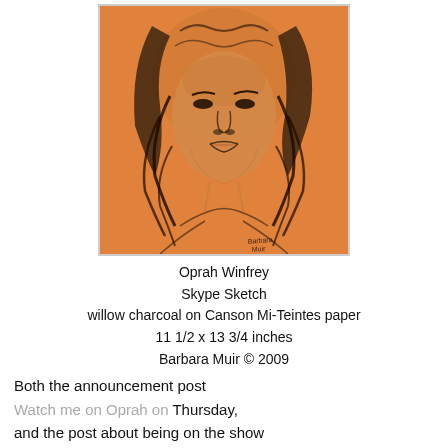[Figure (illustration): Charcoal portrait sketch of Oprah Winfrey on orange/tan Canson Mi-Teintes paper, drawn in willow charcoal. Shows face and upper body with curly hair. Signed 'Barbara Muir' in lower right corner.]
Oprah Winfrey
Skype Sketch
willow charcoal on Canson Mi-Teintes paper
11 1/2 x 13 3/4 inches
Barbara Muir © 2009
Both the announcement post Watch me on Oprah on Thursday, and the post about being on the show Wow that was so much fun!!! attracted a lot of attention. But interestingly so did my